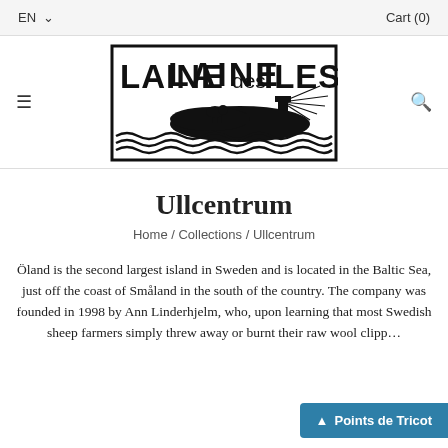EN   Cart (0)
[Figure (logo): Laine des Iles logo — black rectangular border containing bold text 'LAINE des ILES' with an illustration of a lighthouse, sheep, island, and zigzag wave pattern below]
Ullcentrum
Home / Collections / Ullcentrum
Öland is the second largest island in Sweden and is located in the Baltic Sea, just off the coast of Småland in the south of the country. The company was founded in 1998 by Ann Linderhjelm, who, upon learning that most Swedish sheep farmers simply threw away or burnt their raw wool clipp…
▲ Points de Tricot